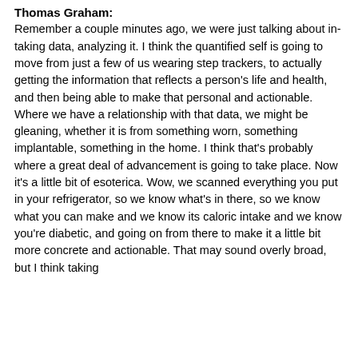Thomas Graham:
Remember a couple minutes ago, we were just talking about in-taking data, analyzing it. I think the quantified self is going to move from just a few of us wearing step trackers, to actually getting the information that reflects a person's life and health, and then being able to make that personal and actionable. Where we have a relationship with that data, we might be gleaning, whether it is from something worn, something implantable, something in the home. I think that's probably where a great deal of advancement is going to take place. Now it's a little bit of esoterica. Wow, we scanned everything you put in your refrigerator, so we know what's in there, so we know what you can make and we know its caloric intake and we know you're diabetic, and going on from there to make it a little bit more concrete and actionable. That may sound overly broad, but I think taking